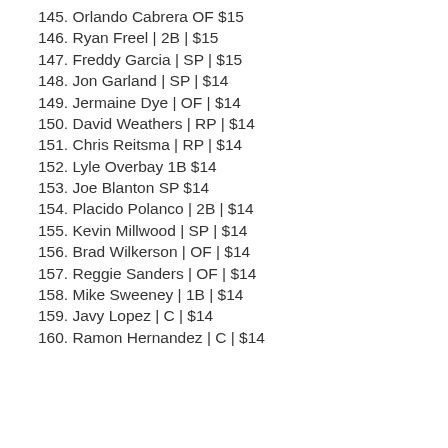145. Orlando Cabrera OF $15
146. Ryan Freel | 2B | $15
147. Freddy Garcia | SP | $15
148. Jon Garland | SP | $14
149. Jermaine Dye | OF | $14
150. David Weathers | RP | $14
151. Chris Reitsma | RP | $14
152. Lyle Overbay 1B $14
153. Joe Blanton SP $14
154. Placido Polanco | 2B | $14
155. Kevin Millwood | SP | $14
156. Brad Wilkerson | OF | $14
157. Reggie Sanders | OF | $14
158. Mike Sweeney | 1B | $14
159. Javy Lopez | C | $14
160. Ramon Hernandez | C | $14